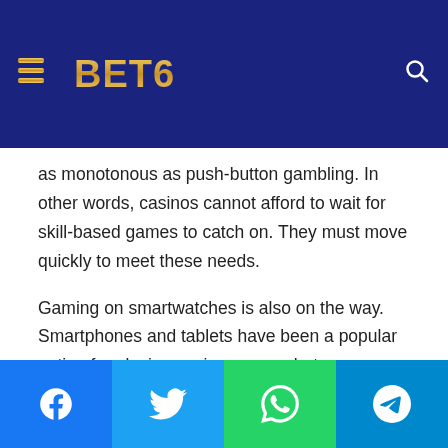3BET6
skill-based gaming into the mix will be crucial to its continued growth. Executives also believe that younger generations are seeking experiences that are not as monotonous as push-button gambling. In other words, casinos cannot afford to wait for skill-based games to catch on. They must move quickly to meet these needs.
Gaming on smartwatches is also on the way. Smartphones and tablets have been a popular option for playing casino games, but a smartwatch is more convenient and has the potential to be a great gaming experience. In fact, the smartwatch market is predicted to hit $33 billion by 2022 and gambling is expected to be part of that. Gaming software developers are already developing new games for wearable technology.
Facebook | Twitter | WhatsApp | Telegram